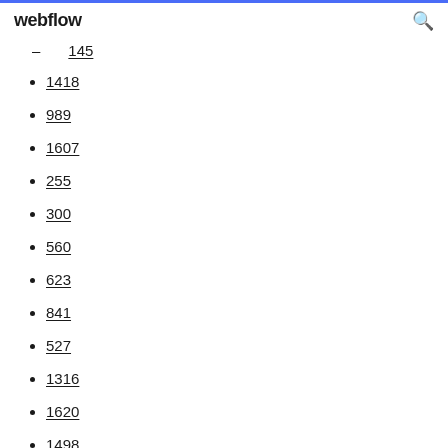webflow
145
1418
989
1607
255
300
560
623
841
527
1316
1620
1498